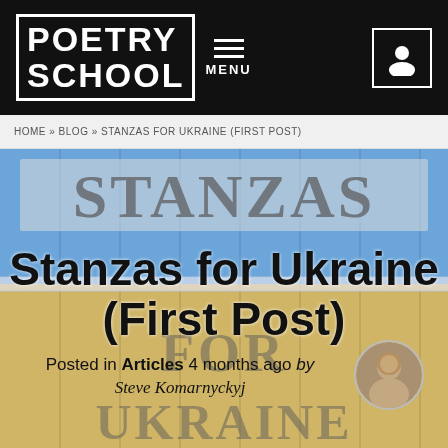POETRY SCHOOL  MENU
HOME » BLOG » STANZAS FOR UKRAINE (FIRST POST)
[Figure (photo): Ukrainian flag-colored wooden boards with 'STANZAS FOR UKRAINE' text painted on them in large gray letters]
Stanzas for Ukraine (First Post)
Posted in Articles 4 months ago by Steve Komarnyckyj